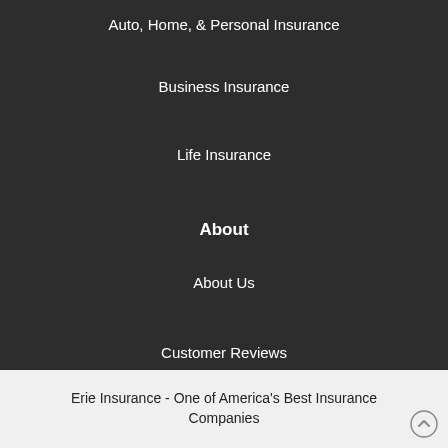Auto, Home, & Personal Insurance
Business Insurance
Life Insurance
About
About Us
Customer Reviews
Erie Insurance - One of America's Best Insurance Companies